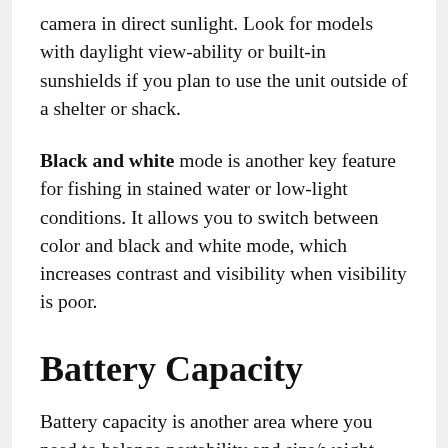camera in direct sunlight. Look for models with daylight view-ability or built-in sunshields if you plan to use the unit outside of a shelter or shack.
Black and white mode is another key feature for fishing in stained water or low-light conditions. It allows you to switch between color and black and white mode, which increases contrast and visibility when visibility is poor.
Battery Capacity
Battery capacity is another area where you need to balance portability and size/weight. Typical battery capacities vary from 4 hours of use up to 8+ hours per battery charge. Keep in mind that